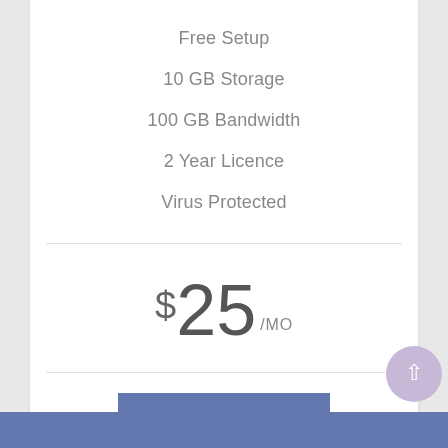Free Setup
10 GB Storage
100 GB Bandwidth
2 Year Licence
Virus Protected
$25 /MO
BUY NOW